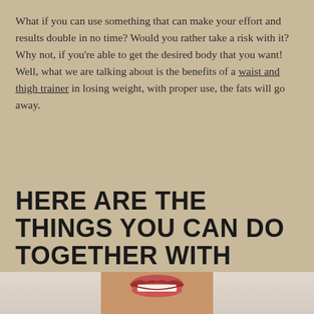What if you can use something that can make your effort and results double in no time? Would you rather take a risk with it? Why not, if you're able to get the desired body that you want! Well, what we are talking about is the benefits of a waist and thigh trainer in losing weight, with proper use, the fats will go away.
HERE ARE THE THINGS YOU CAN DO TOGETHER WITH YOUR WAIST AND THIGH TRAINER
[Figure (photo): Bottom portion of a person's face showing a smile, cropped at the chin/mouth area]